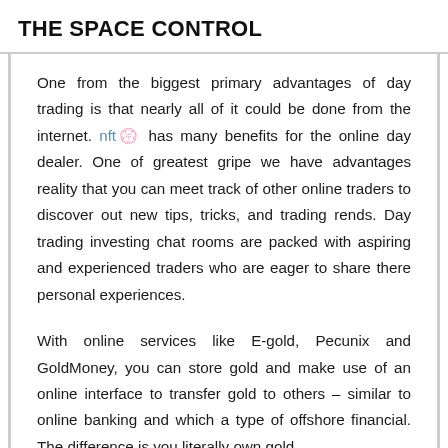THE SPACE CONTROL
One from the biggest primary advantages of day trading is that nearly all of it could be done from the internet. nft💞 has many benefits for the online day dealer. One of greatest gripe we have advantages reality that you can meet track of other online traders to discover out new tips, tricks, and trading rends. Day trading investing chat rooms are packed with aspiring and experienced traders who are eager to share there personal experiences.
With online services like E-gold, Pecunix and GoldMoney, you can store gold and make use of an online interface to transfer gold to others – similar to online banking and which a type of offshore financial. The difference is you literally own gold,